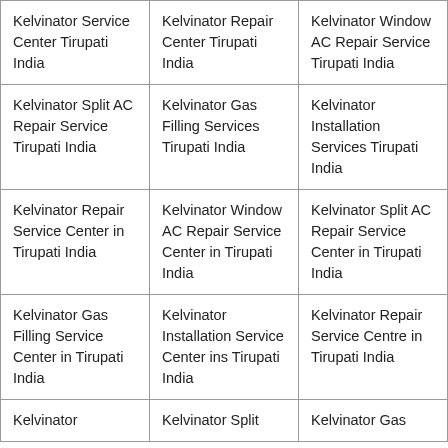| Kelvinator Service Center Tirupati India | Kelvinator Repair Center Tirupati India | Kelvinator Window AC Repair Service Tirupati India |
| Kelvinator Split AC Repair Service Tirupati India | Kelvinator Gas Filling Services Tirupati India | Kelvinator Installation Services Tirupati India |
| Kelvinator Repair Service Center in Tirupati India | Kelvinator Window AC Repair Service Center in Tirupati India | Kelvinator Split AC Repair Service Center in Tirupati India |
| Kelvinator Gas Filling Service Center in Tirupati India | Kelvinator Installation Service Center ins Tirupati India | Kelvinator Repair Service Centre in Tirupati India |
| Kelvinator | Kelvinator Split | Kelvinator Gas |